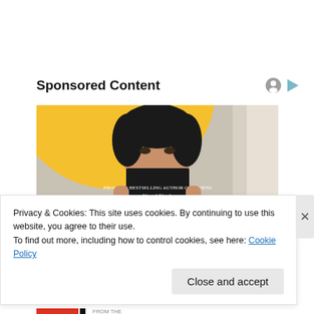Sponsored Content
[Figure (photo): Person holding a dark book showing 'Yuval Noah Harari' on the cover, photographed against a yellow and beige curved background]
Privacy & Cookies: This site uses cookies. By continuing to use this website, you agree to their use.
To find out more, including how to control cookies, see here: Cookie Policy
Close and accept